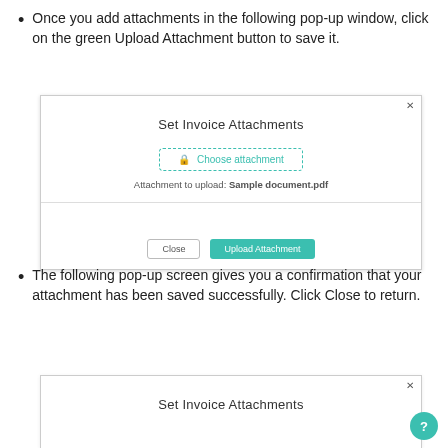Once you add attachments in the following pop-up window, click on the green Upload Attachment button to save it.
[Figure (screenshot): Modal dialog titled 'Set Invoice Attachments' showing a dashed-border 'Choose attachment' button, text 'Attachment to upload: Sample document.pdf', a divider, and two buttons: 'Close' and 'Upload Attachment' (teal).]
The following pop-up screen gives you a confirmation that your attachment has been saved successfully. Click Close to return.
[Figure (screenshot): Partial view of a modal dialog titled 'Set Invoice Attachments' with a teal circular help button in the corner.]